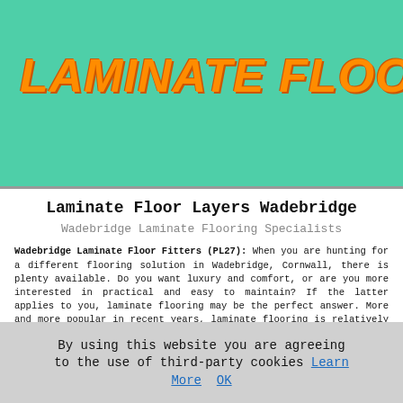LAMINATE FLOORING
HOME | LINKS | ABOUT | CONTACT | DISCLAIMER
Laminate Floor Layers Wadebridge
Wadebridge Laminate Flooring Specialists
Wadebridge Laminate Floor Fitters (PL27): When you are hunting for a different flooring solution in Wadebridge, Cornwall, there is plenty available. Do you want luxury and comfort, or are you more interested in practical and easy to maintain? If the latter applies to you, laminate flooring may be the perfect answer. More and more popular in recent years, laminate flooring is relatively straightforward to lay, stylish in appearance, and easy to maintain. Regardless of whether you lay it yourself or hire specialist laminate flooring layers, you can get a floor to be proud of.
By using this website you are agreeing to the use of third-party cookies Learn More OK